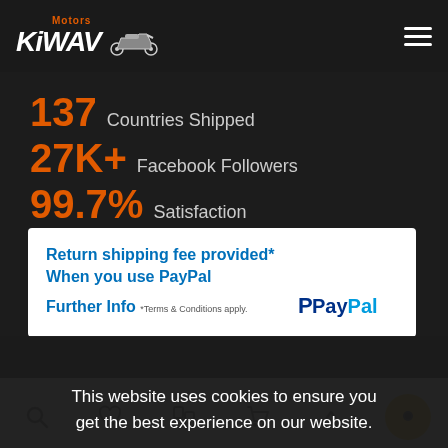KiWAV Motors
137 Countries Shipped
27K+ Facebook Followers
99.7% Satisfaction
Return shipping fee provided* When you use PayPal Further Info *Terms & Conditions apply.
This website uses cookies to ensure you get the best experience on our website.
Got it!
Navigation icons: search, wishlist, compare, cart, scroll-up, chat